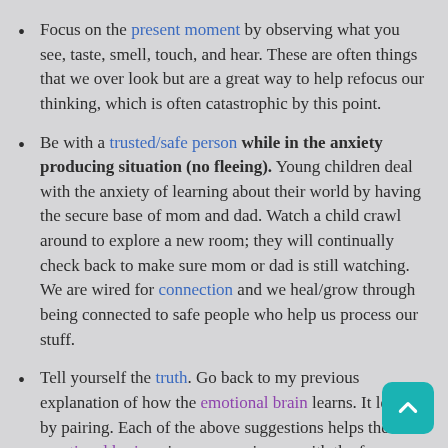Focus on the present moment by observing what you see, taste, smell, touch, and hear.  These are often things that we over look but are a great way to help refocus our thinking, which is often catastrophic by this point.
Be with a trusted/safe person while in the anxiety producing situation (no fleeing).  Young children deal with the anxiety of learning about their world by having the secure base of mom and dad.  Watch a child crawl around to explore a new room; they will continually check back to make sure mom or dad is still watching.  We are wired for connection and we heal/grow through being connected to safe people who help us process our stuff.
Tell yourself the truth.  Go back to my previous explanation of how the emotional brain learns.  It learns by pairing.  Each of the above suggestions helps the emotional brain pair new experiences with the fear trigger.  Not only that but using your logical brain to question your fear can also help calm down the emotional